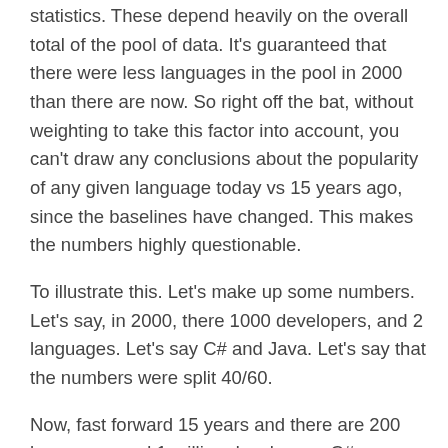statistics.  These depend heavily on the overall total of the pool of data.  It's guaranteed that there were less languages in the pool in 2000 than there are now.  So right off the bat, without weighting to take this factor into account, you can't draw any conclusions about the popularity of any given language today vs 15 years ago, since the baselines have changed.  This makes the numbers highly questionable.
To illustrate this.  Let's make up some numbers.  Let's say, in 2000, there 1000 developers, and 2 languages.  Let's say C# and Java.  Let's say that the numbers were split 40/60.
Now, fast forward 15 years and there are 200 languages and 1 million developers.  C# may now have 10 times as many developers using (and liking it), but its overall percentage may now be 10... OH MY GOD C#'s popularity